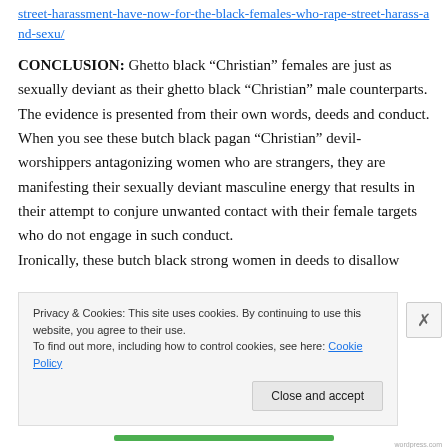street-harassment-have-now-for-the-black-females-who-rape-street-harass-and-sexu/
CONCLUSION:  Ghetto black “Christian” females are just as sexually deviant as their ghetto black “Christian” male counterparts.  The evidence is presented from their own words, deeds and conduct.  When you see these butch black pagan “Christian” devil-worshippers antagonizing women who are strangers, they are manifesting their sexually deviant masculine energy that results in their attempt to conjure unwanted contact with their female targets who do not engage in such conduct.
Privacy & Cookies: This site uses cookies. By continuing to use this website, you agree to their use. To find out more, including how to control cookies, see here: Cookie Policy
Close and accept